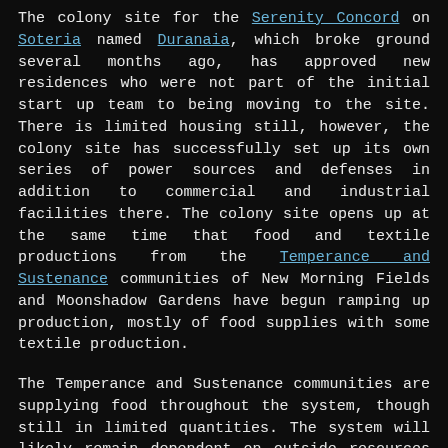The colony site for the Serenity Concord on Soteria named Duranaia, which broke ground several months ago, has approved new residences who were not part of the initial start up team to being moving to the site. There is limited housing still, however, the colony site has successfully set up its own series of power sources and defenses in addition to commercial and industrial facilities there. The colony site opens up at the same time that food and textile productions from the Temperance and Sustenance communities of New Morning Fields and Moonshadow Gardens have begun ramping up production, mostly of food supplies with some textile production.
The Temperance and Sustenance communities are supplying food throughout the system, though still in limited quantities. The system will likely remain dependent on outside resources of raw materials for some time to come. However, having the farming communities focused on sustainable production of food and other resources which the colony site can then produce into other goods and